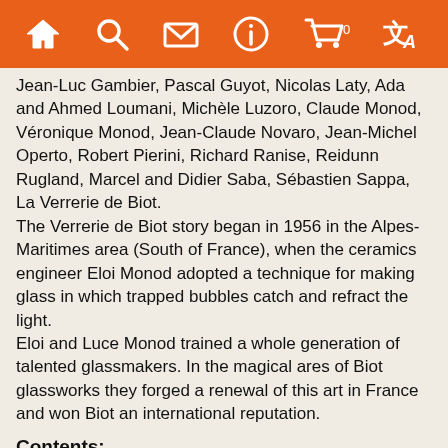[Navigation bar with home, search, mail, info, cart (0), translate icons]
Jean-Luc Gambier, Pascal Guyot, Nicolas Laty, Ada and Ahmed Loumani, Michèle Luzoro, Claude Monod, Véronique Monod, Jean-Claude Novaro, Jean-Michel Operto, Robert Pierini, Richard Ranise, Reidunn Rugland, Marcel and Didier Saba, Sébastien Sappa, La Verrerie de Biot.
The Verrerie de Biot story began in 1956 in the Alpes-Maritimes area (South of France), when the ceramics engineer Eloi Monod adopted a technique for making glass in which trapped bubbles catch and refract the light.
Eloi and Luce Monod trained a whole generation of talented glassmakers. In the magical ares of Biot glassworks they forged a renewal of this art in France and won Biot an international reputation.
Contents:
Dreams of Glass, Glass of Dreams. Eloi Monod and after...( by Claude Pelletier and Jacqueline du Pasquier )
Biot, a place in the sun for Art and craftsmen ( by Edmond Mari )
An impressionist Saga ( by Augustin Gilloire and Véronique Monod )